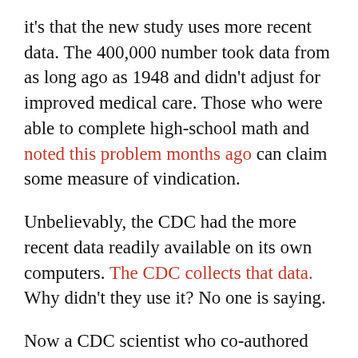it's that the new study uses more recent data. The 400,000 number took data from as long ago as 1948 and didn't adjust for improved medical care. Those who were able to complete high-school math and noted this problem months ago can claim some measure of vindication.
Unbelievably, the CDC had the more recent data readily available on its own computers. The CDC collects that data. Why didn't they use it? No one is saying.
Now a CDC scientist who co-authored the original 400,000 deaths estimate admits the new number is "a step forward." Yet the agency's official position is that it will take no position. The CDC proclaims the science is too new, debates about methodology "detract from the real issue," and we shouldn't focus so much on obesity deaths anyway. Funny. It